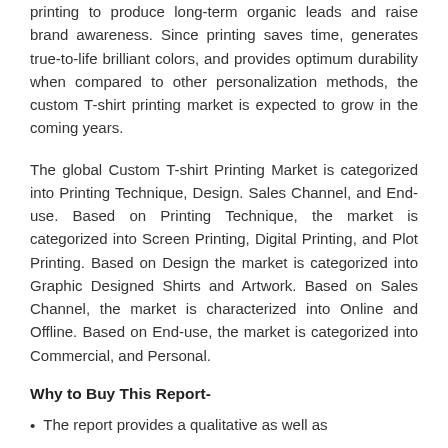printing to produce long-term organic leads and raise brand awareness. Since printing saves time, generates true-to-life brilliant colors, and provides optimum durability when compared to other personalization methods, the custom T-shirt printing market is expected to grow in the coming years.
The global Custom T-shirt Printing Market is categorized into Printing Technique, Design. Sales Channel, and End-use. Based on Printing Technique, the market is categorized into Screen Printing, Digital Printing, and Plot Printing. Based on Design the market is categorized into Graphic Designed Shirts and Artwork. Based on Sales Channel, the market is characterized into Online and Offline. Based on End-use, the market is categorized into Commercial, and Personal.
Why to Buy This Report-
The report provides a qualitative as well as